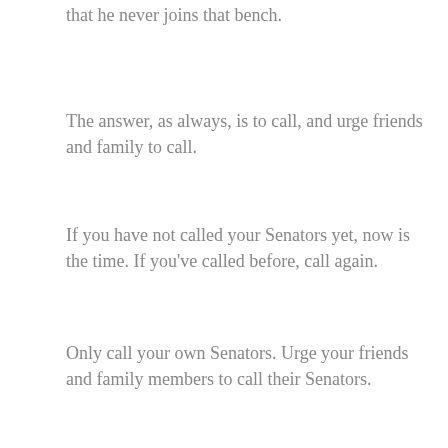that he never joins that bench.
The answer, as always, is to call, and urge friends and family to call.
If you have not called your Senators yet, now is the time. If you've called before, call again.
Only call your own Senators. Urge your friends and family members to call their Senators.